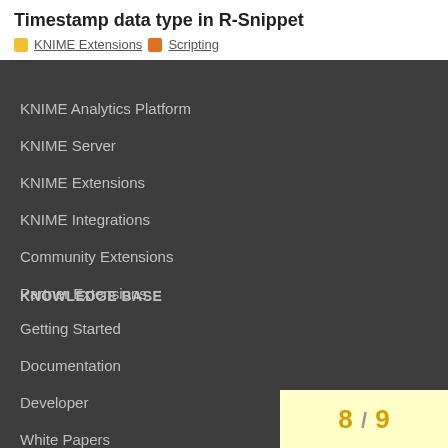Timestamp data type in R-Snippet
KNIME Extensions  Scripting
KNIME Analytics Platform
KNIME Server
KNIME Extensions
KNIME Integrations
Community Extensions
Partner Extensions
KNOWLEDGE BASE
Getting Started
Documentation
Developer
White Papers
8 / 9